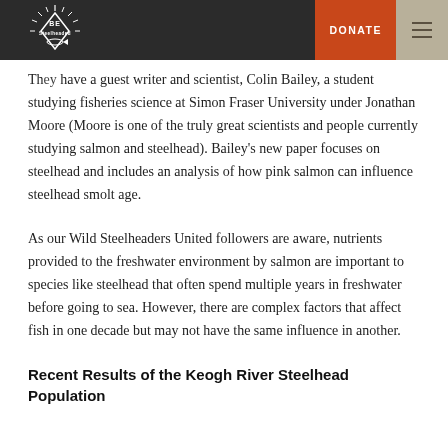Be Steelheaded | DONATE | Menu
They have a guest writer and scientist, Colin Bailey, a student studying fisheries science at Simon Fraser University under Jonathan Moore (Moore is one of the truly great scientists and people currently studying salmon and steelhead). Bailey's new paper focuses on steelhead and includes an analysis of how pink salmon can influence steelhead smolt age.
As our Wild Steelheaders United followers are aware, nutrients provided to the freshwater environment by salmon are important to species like steelhead that often spend multiple years in freshwater before going to sea. However, there are complex factors that affect fish in one decade but may not have the same influence in another.
Recent Results of the Keogh River Steelhead Population